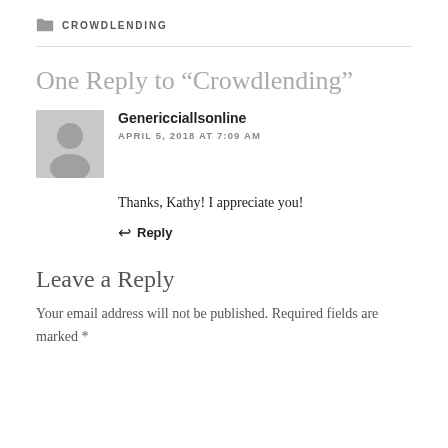CROWDLENDING
One Reply to “Crowdlending”
Genericciallsonline
APRIL 5, 2018 AT 7:09 AM
Thanks, Kathy! I appreciate you!
Reply
Leave a Reply
Your email address will not be published. Required fields are marked *